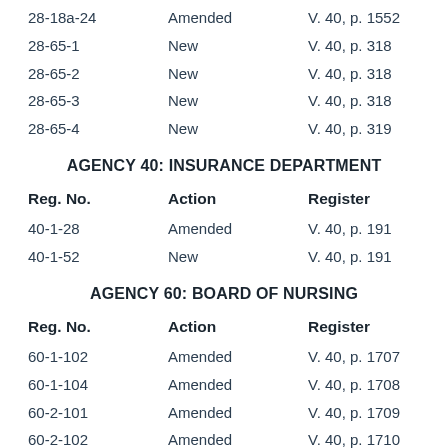| Reg. No. | Action | Register |
| --- | --- | --- |
| 28-18a-24 | Amended | V. 40, p. 1552 |
| 28-65-1 | New | V. 40, p. 318 |
| 28-65-2 | New | V. 40, p. 318 |
| 28-65-3 | New | V. 40, p. 318 |
| 28-65-4 | New | V. 40, p. 319 |
AGENCY 40: INSURANCE DEPARTMENT
| Reg. No. | Action | Register |
| --- | --- | --- |
| 40-1-28 | Amended | V. 40, p. 191 |
| 40-1-52 | New | V. 40, p. 191 |
AGENCY 60: BOARD OF NURSING
| Reg. No. | Action | Register |
| --- | --- | --- |
| 60-1-102 | Amended | V. 40, p. 1707 |
| 60-1-104 | Amended | V. 40, p. 1708 |
| 60-2-101 | Amended | V. 40, p. 1709 |
| 60-2-102 | Amended | V. 40, p. 1710 |